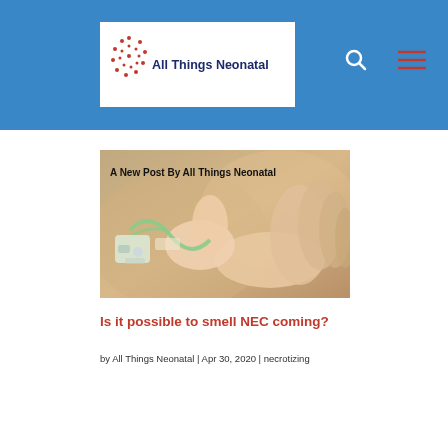All Things Neonatal
[Figure (photo): Close-up photo of a premature newborn baby's tiny hand being held by an adult hand, with medical IV/monitoring equipment visible. Text overlay reads 'A New Post By All Things Neonatal']
Is it possible to smell NEC coming?
by All Things Neonatal | Apr 30, 2020 | necrotizing enterocolitis